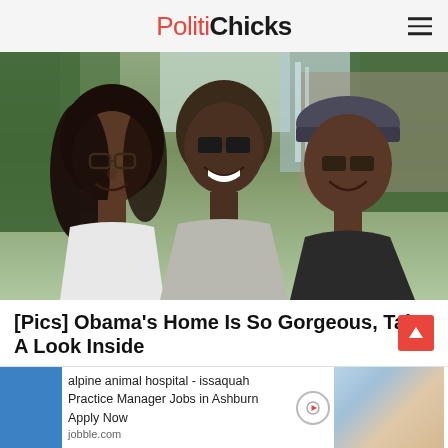PolitiChicks
[Figure (photo): Three people smiling outdoors in a natural park setting with trees and a waterfall in the background. A young woman with glasses on the left, a man wearing sunglasses in the center, and a woman with a visor and sunglasses on the right.]
[Pics] Obama's Home Is So Gorgeous, Take A Look Inside
BuzzAura
alpine animal hospital - issaquah Practice Manager Jobs in Ashburn Apply Now jobble.com